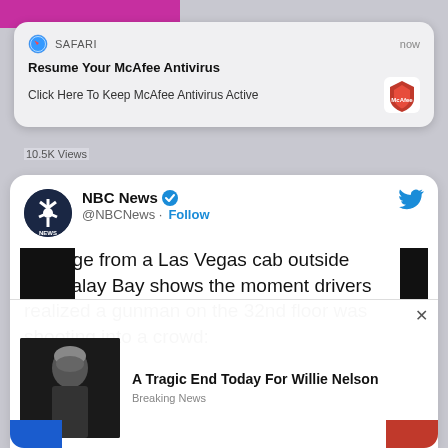[Figure (screenshot): Safari browser push notification: 'Resume Your McAfee Antivirus - Click Here To Keep McAfee Antivirus Active' with McAfee logo]
10.5K Views
[Figure (screenshot): NBC News tweet: 'Footage from a Las Vegas cab outside Mandalay Bay shows the moment drivers realized a gunman on the 32nd floor was shooting into a crowd:']
[Figure (screenshot): Ad overlay: 'A Tragic End Today For Willie Nelson - Breaking News' with photo of elderly man]